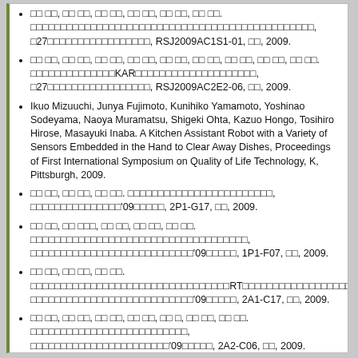□□ □□, □□ □□, □□ □□, □□ □□, □□ □□, □□ □□. □□□□□□□□□□□□□□□□□□□□□□□□□□□□□□□□□, □27□□□□□□□□□□□□□□□□□, RSJ2009AC1S1-01, □□, 2009.
□□ □□, □□ □□, □□ □□, □□ □□, □□ □□, □□ □□, □□ □□, □□ □□, □□ □□. □□□□□□□□□□□□□□KAR□□□□□□□□□□□□□□□□□□□□, □27□□□□□□□□□□□□□□□□□, RSJ2009AC2E2-06, □□, 2009.
Ikuo Mizuuchi, Junya Fujimoto, Kunihiko Yamamoto, Yoshinao Sodeyama, Naoya Muramatsu, Shigeki Ohta, Kazuo Hongo, Tosihiro Hirose, Masayuki Inaba. A Kitchen Assistant Robot with a Variety of Sensors Embedded in the Hand to Clear Away Dishes, Proceedings of First International Symposium on Quality of Life Technology, K, Pittsburgh, 2009.
□□ □□, □□ □□, □□ □□. □□□□□□□□□□□□□□□□□□□□□□□□, □□□□□□□□□□□□□□□'09□□□□□, 2P1-G17, □□, 2009.
□□ □□, □□ □□□, □□ □□, □□ □□, □□ □□. □□□□□□□□□□□□□□□□□□□□□□□□□□□□□□□□□□□□, □□□□□□□□□□□□□□□□□□□□□□□□□□□'09□□□□□, 1P1-F07, □□, 2009.
□□ □□, □□ □□, □□ □□. □□□□□□□□□□□□□□□□□□□□□□□□□□□□□□□□□RT□□□□□□□□□□□□□□□□□□□, □□□□□□□□□□□□□□□□□□□□□□□□□□□'09□□□□□, 2A1-C17, □□, 2009.
□□ □□, □□ □□, □□ □□, □□ □□, □□ □, □□ □□, □□ □□. □□□□□□□□□□□□□□□□□□□□□□□□□□, □□□□□□□□□□□□□□□□□□□□□□□'09□□□□□, 2A2-C06, □□, 2009.
□□ □□, □□ □□, □□ □□, □□ □□. □□□□□□□□□□□□□□□□□□□□□□□□□□□□□□□□□□□□□□□□, □□□□□□□□□□□□□□□'09□□□□□, 2A2-B10, □□, 2009.